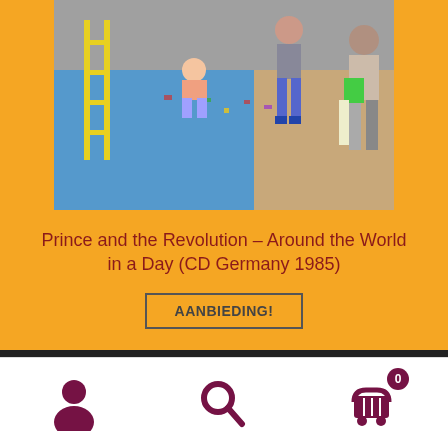[Figure (photo): Partial view of album artwork for Prince and the Revolution - Around the World in a Day. Shows colorful illustrated figures near a blue pool.]
Prince and the Revolution – Around the World in a Day (CD Germany 1985)
AANBIEDING!
€ 4,95  € 3,50
In Winkelmand
[Figure (infographic): Bottom navigation bar with person icon, search icon, and shopping cart icon with badge showing 0]